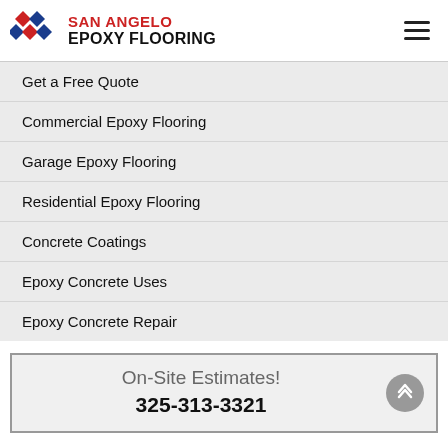San Angelo Epoxy Flooring
Get a Free Quote
Commercial Epoxy Flooring
Garage Epoxy Flooring
Residential Epoxy Flooring
Concrete Coatings
Epoxy Concrete Uses
Epoxy Concrete Repair
On-Site Estimates! 325-313-3321